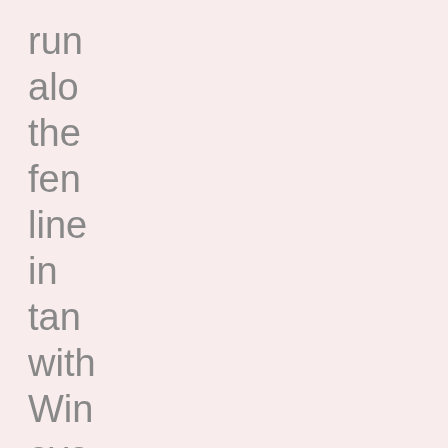run
alo
the
fen
line
in
tan
with
Win
eve
sinc
day
sta
ban
and
my
dog
frea
out
tan
the
up
and